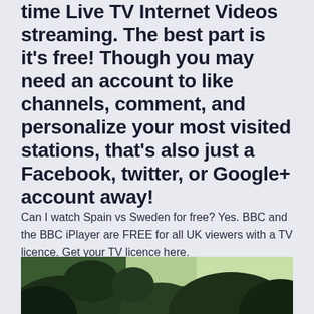time Live TV Internet Videos streaming. The best part is it's free! Though you may need an account to like channels, comment, and personalize your most visited stations, that's also just a Facebook, twitter, or Google+ account away!
Can I watch Spain vs Sweden for free? Yes. BBC and the BBC iPlayer are FREE for all UK viewers with a TV licence. Get your TV licence here.
[Figure (photo): Outdoor photo showing dark green trees against a light sky, bottom portion of the page]